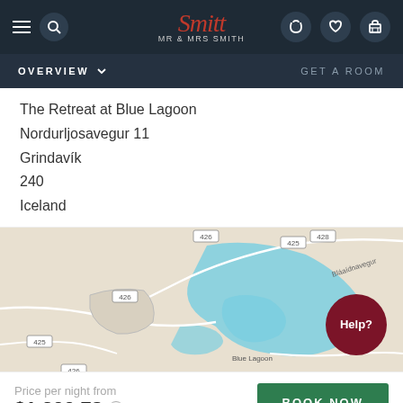[Figure (screenshot): Mr & Mrs Smith hotel booking website navigation bar with hamburger menu, search icon, logo, phone, heart, and luggage icons]
OVERVIEW   GET A ROOM
The Retreat at Blue Lagoon
Nordurljosavegur 11
Grindavík
240
Iceland
[Figure (map): Map showing the area around Blue Lagoon in Iceland with roads labeled 426, 428, 425, and the Blue Lagoon water feature highlighted in blue]
Price per night from
$1,200.78
BOOK NOW